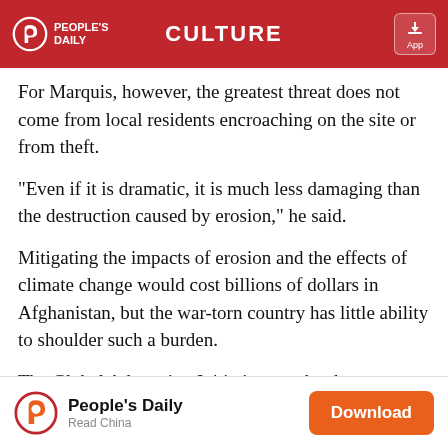PEOPLE'S DAILY | CULTURE | App
For Marquis, however, the greatest threat does not come from local residents encroaching on the site or from theft.
"Even if it is dramatic, it is much less damaging than the destruction caused by erosion," he said.
Mitigating the impacts of erosion and the effects of climate change would cost billions of dollars in Afghanistan, but the war-torn country has little ability to shoulder such a burden.
The Global Adaptation Initiative, run by the University of Notre Dame in the US, currently ranks Afghanistan 173 out of the 181 countries it scored in terms of a nation's
People's Daily | Read China | Download